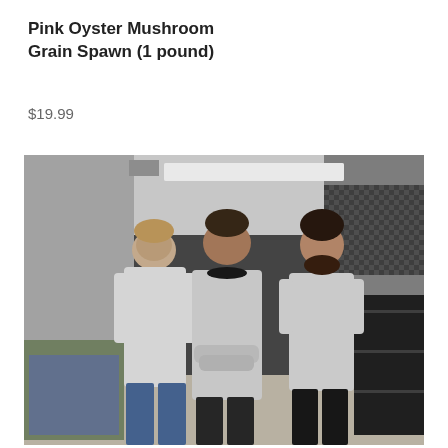Pink Oyster Mushroom Grain Spawn (1 pound)
$19.99
[Figure (photo): Three men in white t-shirts standing together in a large room with white walls and fluorescent ceiling lights. The man on the left is tall with light hair. The man in the center has headphones around his neck and arms crossed. The man on the right has a beard. There are items and shelving visible in the background.]